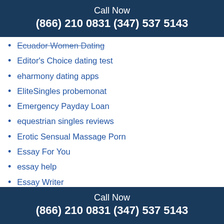Call Now
(866) 210 0831 (347) 537 5143
Ecuador Women Dating
Editor's Choice dating test
eharmony dating apps
EliteSingles probemonat
Emergency Payday Loan
equestrian singles reviews
Erotic Sensual Massage Porn
Essay For You
essay help
Essay Writer
Essay Writers
essay writing service recommendation
Essayshark Sign In
Established Men adult dating
ethiopia personals reddit
eurodate app
eurodate mobile
Call Now
(866) 210 0831 (347) 537 5143